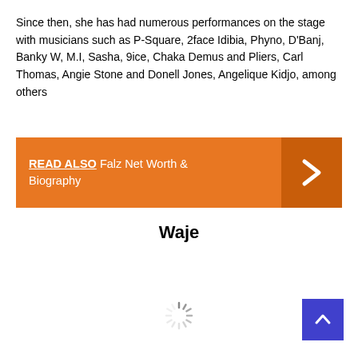Since then, she has had numerous performances on the stage with musicians such as P-Square, 2face Idibia, Phyno, D'Banj, Banky W, M.I, Sasha, 9ice, Chaka Demus and Pliers, Carl Thomas, Angie Stone and Donell Jones, Angelique Kidjo, among others
READ ALSO Falz Net Worth & Biography
Waje
[Figure (other): A loading spinner icon (circular dashed spinner) indicating content is loading]
[Figure (other): A blue back-to-top button with a white upward-pointing chevron arrow]